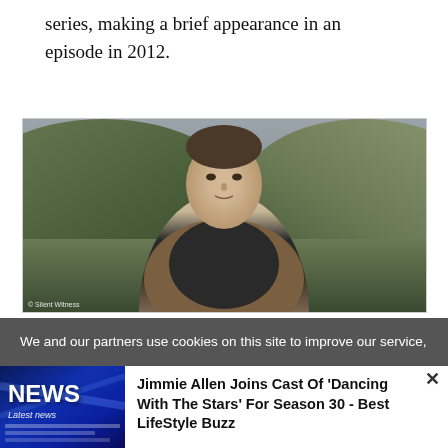series, making a brief appearance in an episode in 2012.
[Figure (photo): A man with short brown hair wearing a brown leather jacket and dark sweater, standing in a hilly green landscape under an overcast sky. Watermark: © Silent Witness]
We and our partners use cookies on this site to improve our service,
[Figure (photo): NEWS thumbnail - blue toned news graphic with Latest news text]
Jimmie Allen Joins Cast Of 'Dancing With The Stars' For Season 30 - Best LifeStyle Buzz